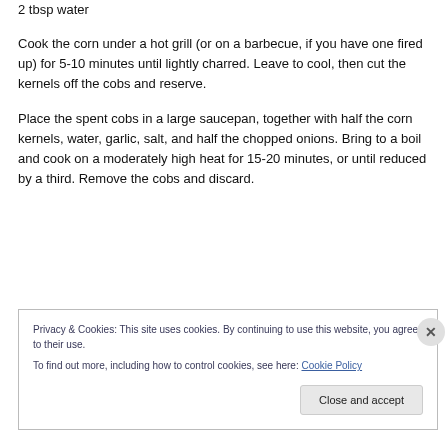2 tbsp water
Cook the corn under a hot grill (or on a barbecue, if you have one fired up) for 5-10 minutes until lightly charred. Leave to cool, then cut the kernels off the cobs and reserve.
Place the spent cobs in a large saucepan, together with half the corn kernels, water, garlic, salt, and half the chopped onions. Bring to a boil and cook on a moderately high heat for 15-20 minutes, or until reduced by a third. Remove the cobs and discard.
Privacy & Cookies: This site uses cookies. By continuing to use this website, you agree to their use.
To find out more, including how to control cookies, see here: Cookie Policy
Close and accept